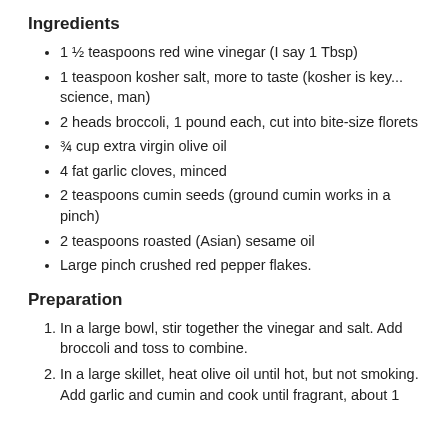Ingredients
1 ½ teaspoons red wine vinegar (I say 1 Tbsp)
1 teaspoon kosher salt, more to taste (kosher is key... science, man)
2 heads broccoli, 1 pound each, cut into bite-size florets
¾ cup extra virgin olive oil
4 fat garlic cloves, minced
2 teaspoons cumin seeds (ground cumin works in a pinch)
2 teaspoons roasted (Asian) sesame oil
Large pinch crushed red pepper flakes.
Preparation
In a large bowl, stir together the vinegar and salt. Add broccoli and toss to combine.
In a large skillet, heat olive oil until hot, but not smoking. Add garlic and cumin and cook until fragrant, about 1